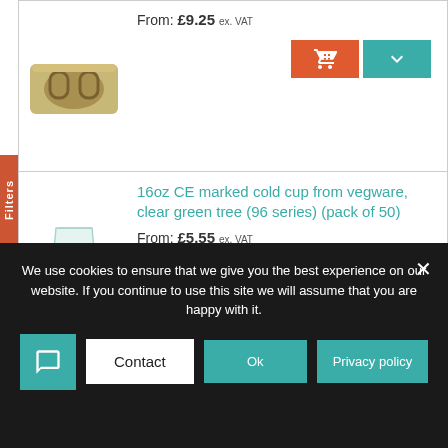Filters
From: £9.25 ex. VAT
16oz CE marked cold cup from vegware, clear green tree (96 series) (pack of 50)
From: £5.55 ex. VAT
7oz cold cup from vegware, printed (76 series) (pack of 50)
From: £2.65 ex. VAT
We use cookies to ensure that we give you the best experience on our website. If you continue to use this site we will assume that you are happy with it.